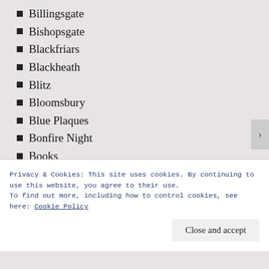Billingsgate
Bishopsgate
Blackfriars
Blackheath
Blitz
Bloomsbury
Blue Plaques
Bonfire Night
Books
Borough
Bow
Brentford
bridges
Brixton
Privacy & Cookies: This site uses cookies. By continuing to use this website, you agree to their use.
To find out more, including how to control cookies, see here: Cookie Policy